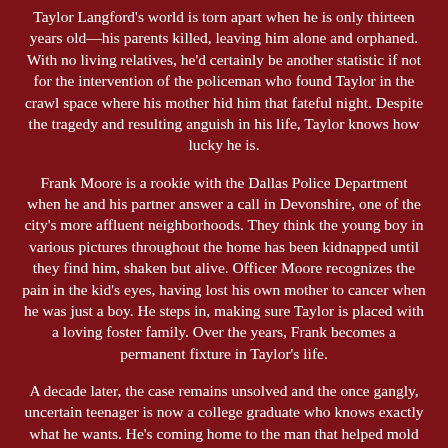Taylor Langford's world is torn apart when he is only thirteen years old—his parents killed, leaving him alone and orphaned. With no living relatives, he'd certainly be another statistic if not for the intervention of the policeman who found Taylor in the crawl space where his mother hid him that fateful night. Despite the tragedy and resulting anguish in his life, Taylor knows how lucky he is.
Frank Moore is a rookie with the Dallas Police Department when he and his partner answer a call in Devonshire, one of the city's more affluent neighborhoods. They think the young boy in various pictures throughout the home has been kidnapped until they find him, shaken but alive. Officer Moore recognizes the pain in the kid's eyes, having lost his own mother to cancer when he was just a boy. He steps in, making sure Taylor is placed with a loving foster family. Over the years, Frank becomes a permanent fixture in Taylor's life.
A decade later, the case remains unsolved and the once gangly, uncertain teenager is now a college graduate who knows exactly what he wants. He's coming home to the man that helped mold and shape his life, the man he's loved for